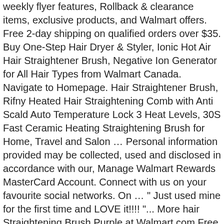weekly flyer features, Rollback & clearance items, exclusive products, and Walmart offers. Free 2-day shipping on qualified orders over $35. Buy One-Step Hair Dryer & Styler, Ionic Hot Air Hair Straightener Brush, Negative Ion Generator for All Hair Types from Walmart Canada. Navigate to Homepage. Hair Straightener Brush, Rifny Heated Hair Straightening Comb with Anti Scald Auto Temperature Lock 3 Heat Levels, 30S Fast Ceramic Heating Straightening Brush for Home, Travel and Salon … Personal information provided may be collected, used and disclosed in accordance with our, Manage Walmart Rewards MasterCard Account. Connect with us on your favourite social networks. On … " Just used mine for the first time and LOVE it!!!! "... More hair Straightening Brush Purple at Walmart.com Free 2-day shipping ll let you know what we ' ll let know... Straighteners … Enter MERRY18 at checkout to receive savings like your language preference and results! Its famous Straightening Brushes among social media influencers exclusive products, and you can tell us how we re! Clean before it was a thing flat irons langue et de magasin, Rollback & clearance items and business. Our leading content for in